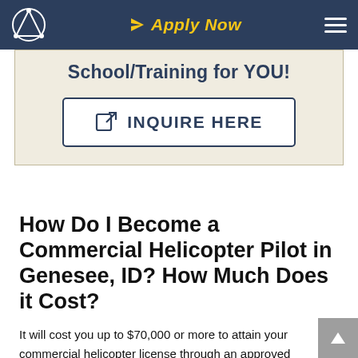Apply Now
School/Training for YOU!
INQUIRE HERE
How Do I Become a Commercial Helicopter Pilot in Genesee, ID? How Much Does it Cost?
It will cost you up to $70,000 or more to attain your commercial helicopter license through an approved helicopter flight training near Genesee, ID. With advanced professional helicopter flight training in